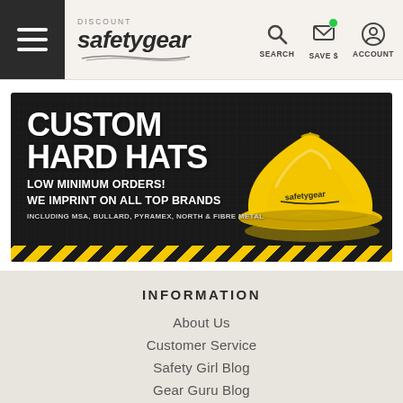[Figure (screenshot): Website header with hamburger menu, Discount Safety Gear logo, and navigation icons for Search, Save $, and Account]
[Figure (illustration): Banner advertisement for Custom Hard Hats showing yellow hard hat with text: CUSTOM HARD HATS, LOW MINIMUM ORDERS! WE IMPRINT ON ALL TOP BRANDS, INCLUDING MSA, BULLARD, PYRAMEX, NORTH & FIBRE METAL]
INFORMATION
About Us
Customer Service
Safety Girl Blog
Gear Guru Blog
Online Stores Blog
Wholesale
Sitemap